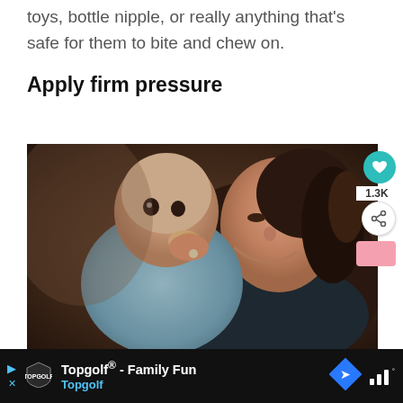toys, bottle nipple, or really anything that's safe for them to bite and chew on.
Apply firm pressure
[Figure (photo): A mother holding a baby who is putting fingers in mouth, dark background, warm tones]
Topgolf® - Family Fun  Topgolf  [advertisement bar]